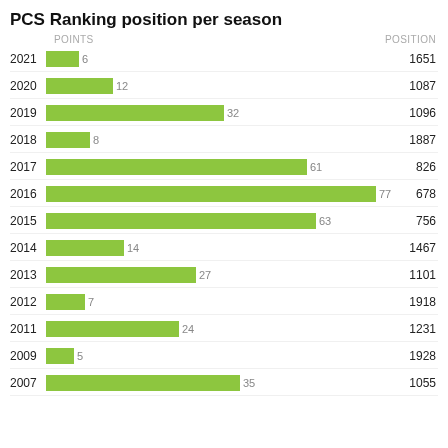[Figure (bar-chart): PCS Ranking position per season]